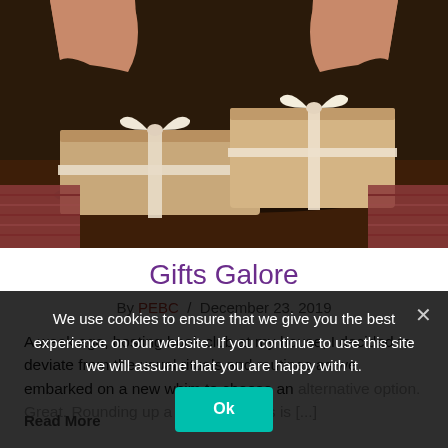[Figure (photo): Hands holding two brown kraft paper wrapped gift boxes tied with white ribbon/twine, on a dark wooden surface. Person wearing a patterned sweater.]
Gifts Galore
By PEBC / December 23, 2019
A week ago, hosting book club at my house, I decided to deviate from the usual rituals and routines as we embarked on a new whim to choose an alternative option. Great. Rounding up a stock of books is [...]
Read More
We use cookies to ensure that we give you the best experience on our website. If you continue to use this site we will assume that you are happy with it.